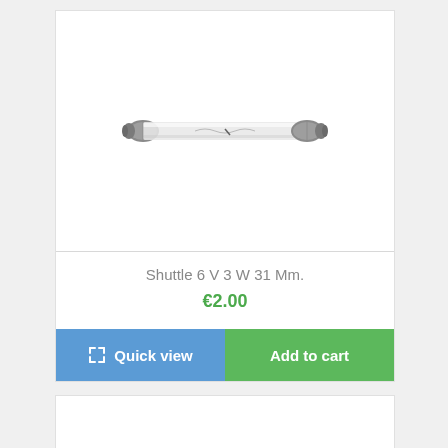[Figure (photo): A small tubular shuttle bulb (festoon lamp) with metal end caps, horizontal orientation, photographed on white background]
Shuttle 6 V 3 W 31 Mm.
€2.00
Quick view
Add to cart